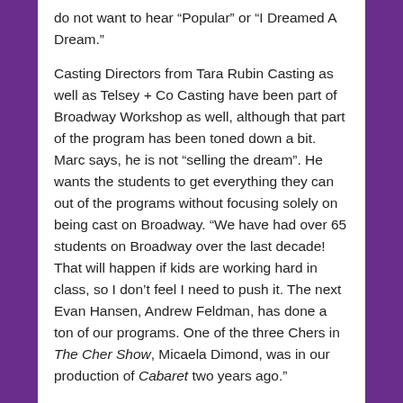do not want to hear “Popular” or “I Dreamed A Dream.”
Casting Directors from Tara Rubin Casting as well as Telsey + Co Casting have been part of Broadway Workshop as well, although that part of the program has been toned down a bit. Marc says, he is not “selling the dream”. He wants the students to get everything they can out of the programs without focusing solely on being cast on Broadway. “We have had over 65 students on Broadway over the last decade! That will happen if kids are working hard in class, so I don’t feel I need to push it. The next Evan Hansen, Andrew Feldman, has done a ton of our programs. One of the three Chers in The Cher Show, Micaela Dimond, was in our production of Cabaret two years ago.”